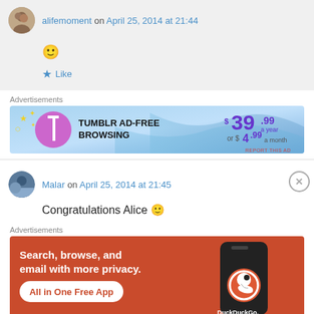alifemoment on April 25, 2014 at 21:44
🙂
★ Like
Advertisements
[Figure (infographic): Tumblr Ad-Free Browsing advertisement banner. $39.99 a year or $4.99 a month.]
Malar on April 25, 2014 at 21:45
Congratulations Alice 🙂
Advertisements
[Figure (infographic): DuckDuckGo advertisement. Search, browse, and email with more privacy. All in One Free App.]